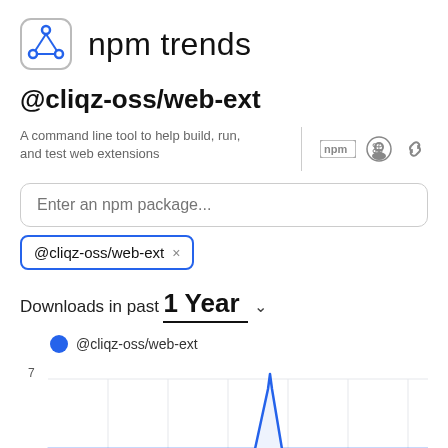[Figure (logo): npm trends logo — rounded square with blue triangular node/connection icon]
npm trends
@cliqz-oss/web-ext
A command line tool to help build, run, and test web extensions
[Figure (infographic): npm badge icon, GitHub octocat icon, and link/chain icon]
Enter an npm package...
@cliqz-oss/web-ext  ×
Downloads in past  1 Year  ˅
[Figure (line-chart): Line chart showing downloads over 1 year for @cliqz-oss/web-ext. Y-axis shows value 7 visible at bottom. A spike is visible near the center-right of the chart.]